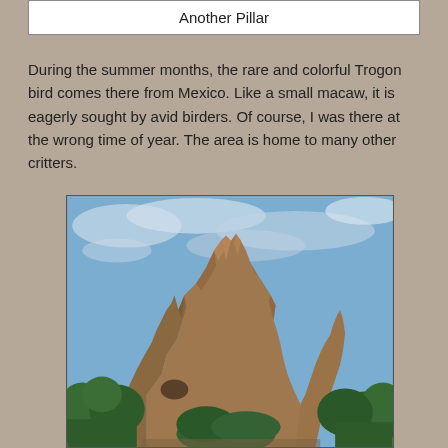Another Pillar
During the summer months, the rare and colorful Trogon bird comes there from Mexico. Like a small macaw, it is eagerly sought by avid birders. Of course, I was there at the wrong time of year. The area is home to many other critters.
[Figure (photo): Photograph of a large rocky pillar or rock formation with jagged brown stone outcropping against a partly cloudy blue sky, with green trees (conifers) visible at the base.]